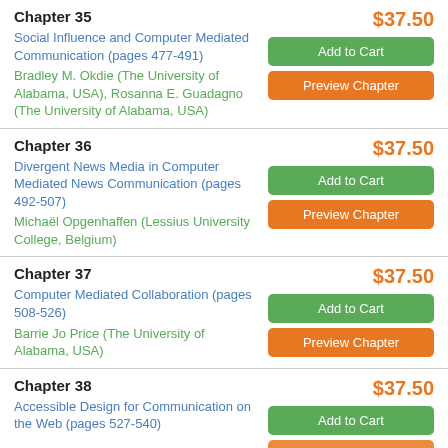Chapter 35
$37.50
Social Influence and Computer Mediated Communication (pages 477-491)
Bradley M. Okdie (The University of Alabama, USA), Rosanna E. Guadagno (The University of Alabama, USA)
Chapter 36
$37.50
Divergent News Media in Computer Mediated News Communication (pages 492-507)
Michaël Opgenhaffen (Lessius University College, Belgium)
Chapter 37
$37.50
Computer Mediated Collaboration (pages 508-526)
Barrie Jo Price (The University of Alabama, USA)
Chapter 38
$37.50
Accessible Design for Communication on the Web (pages 527-540)